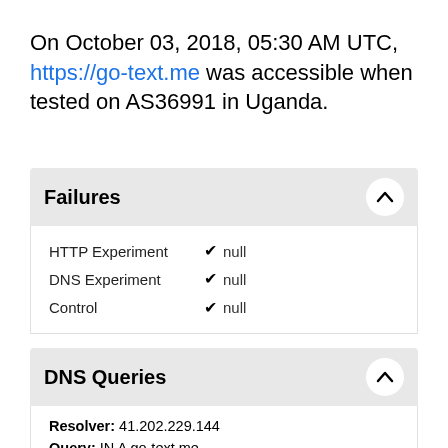On October 03, 2018, 05:30 AM UTC, https://go-text.me was accessible when tested on AS36991 in Uganda.
Failures
| Experiment | Status | Value |
| --- | --- | --- |
| HTTP Experiment | ✔ | null |
| DNS Experiment | ✔ | null |
| Control | ✔ | null |
DNS Queries
Resolver: 41.202.229.144
Query: IN A go-text.me